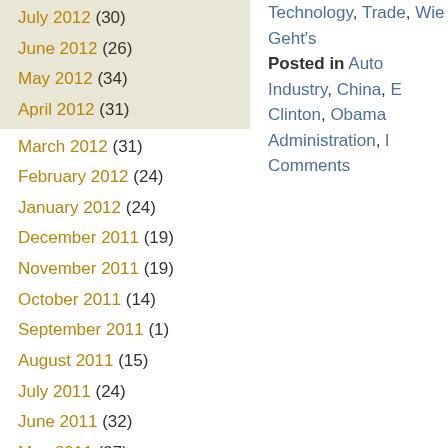July 2012 (30)
June 2012 (26)
May 2012 (34)
April 2012 (31)
March 2012 (31)
February 2012 (24)
January 2012 (24)
December 2011 (19)
November 2011 (19)
October 2011 (14)
September 2011 (1)
August 2011 (15)
July 2011 (24)
June 2011 (32)
May 2011 (27)
April 2011 (25)
March 2011 (15)
Technology, Trade, Wie Geht's
Posted in Auto Industry, China, E Clinton, Obama Administration, Comments